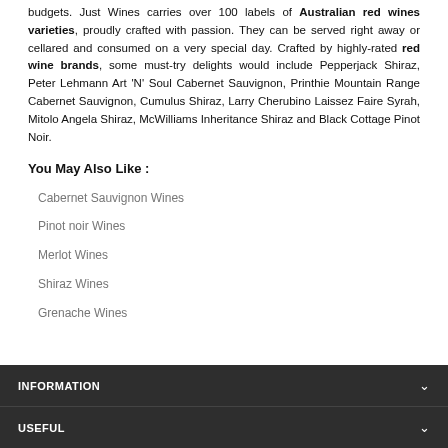budgets. Just Wines carries over 100 labels of Australian red wines varieties, proudly crafted with passion. They can be served right away or cellared and consumed on a very special day. Crafted by highly-rated red wine brands, some must-try delights would include Pepperjack Shiraz, Peter Lehmann Art 'N' Soul Cabernet Sauvignon, Printhie Mountain Range Cabernet Sauvignon, Cumulus Shiraz, Larry Cherubino Laissez Faire Syrah, Mitolo Angela Shiraz, McWilliams Inheritance Shiraz and Black Cottage Pinot Noir.
You May Also Like :
Cabernet Sauvignon Wines
Pinot noir Wines
Merlot Wines
Shiraz Wines
Grenache Wines
INFORMATION
USEFUL